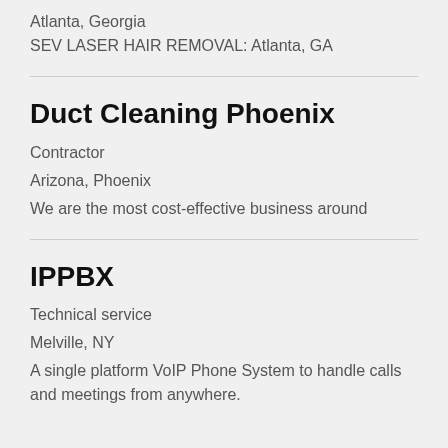Atlanta, Georgia
SEV LASER HAIR REMOVAL: Atlanta, GA
Duct Cleaning Phoenix
Contractor
Arizona, Phoenix
We are the most cost-effective business around
IPPBX
Technical service
Melville, NY
A single platform VoIP Phone System to handle calls and meetings from anywhere.